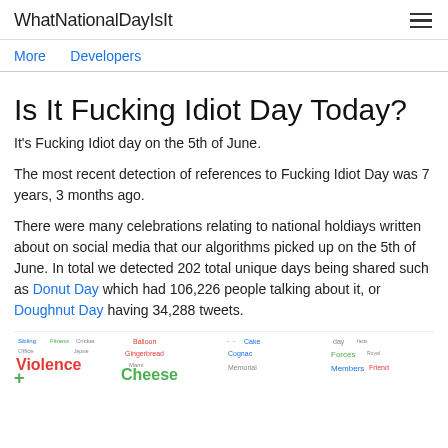WhatNationalDayIsIt
More   Developers
Is It Fucking Idiot Day Today?
It's Fucking Idiot day on the 5th of June.
The most recent detection of references to Fucking Idiot Day was 7 years, 3 months ago.
There were many celebrations relating to national holdiays written about on social media that our algorithms picked up on the 5th of June. In total we detected 202 total unique days being shared such as Donut Day which had 106,226 people talking about it, or Doughnut Day having 34,288 tweets.
[Figure (infographic): Word cloud strip showing various national day names in different colors and sizes, including Violence, Sibling, Fitness, Cricket, Office, Jepsie, Balloon, Gingerbread, Mami, Cheese, Cake, Cognac, Memorial, day, Forces, Members, Friend]